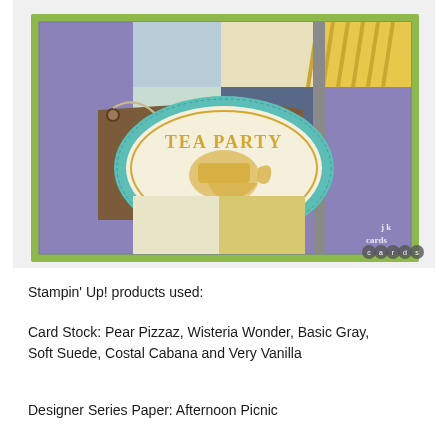[Figure (photo): A handmade greeting card featuring a tea party theme. The card has a green (Pear Pizzaz) base, a purple (Wisteria Wonder) layer with decorative stamped border, patchwork-style designer series paper panels in blue, gray, yellow and cream, a brown (Soft Suede) tag with twine bow, and a teal (Coastal Cabana) oval frame containing a yellow stamped 'Tea Party' label with teapot and teacup image on Very Vanilla background. A watermark reads 'jk cards' in the bottom right corner.]
Stampin' Up! products used:
Card Stock: Pear Pizzaz, Wisteria Wonder, Basic Gray, Soft Suede, Costal Cabana and Very Vanilla
Designer Series Paper: Afternoon Picnic